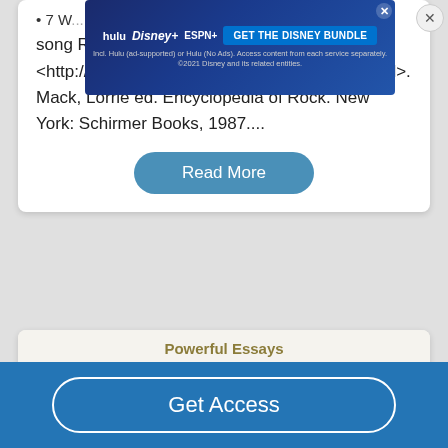[Figure (screenshot): Disney Bundle advertisement overlay showing Hulu, Disney+ and ESPN+ logos with 'GET THE DISNEY BUNDLE' button]
7 W... Beatl... [partial bullet text, cropped by ad]
song Record-by-record. 5 Nov. 2004 <http://www.beatles-discography.com/1969.html>. Mack, Lorrie ed. Encyclopedia of Rock. New York: Schirmer Books, 1987....
Read More
Powerful Essays
How John Lennon Made the Beatles
Get Access